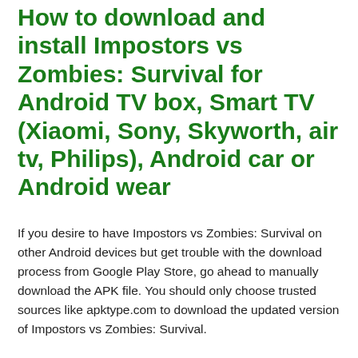How to download and install Impostors vs Zombies: Survival for Android TV box, Smart TV (Xiaomi, Sony, Skyworth, air tv, Philips), Android car or Android wear
If you desire to have Impostors vs Zombies: Survival on other Android devices but get trouble with the download process from Google Play Store, go ahead to manually download the APK file. You should only choose trusted sources like apktype.com to download the updated version of Impostors vs Zombies: Survival.
Impostors vs Zombies: Survival Screenshots: